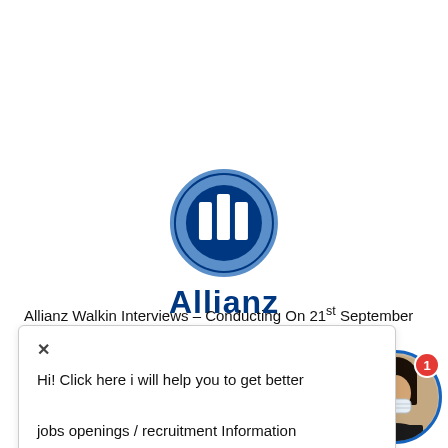[Figure (logo): Allianz logo: circular emblem with three white bars on blue background, with bold navy text 'Allianz' below]
Allianz Walkin Interviews – Conducting On 21st September
Hi! Click here i will help you to get better jobs openings / recruitment Information
in Trivandrum Location. Check complete job des... Eligibility below before attending Allianz Walkin